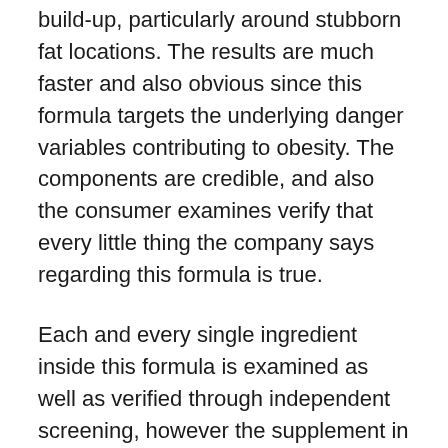build-up, particularly around stubborn fat locations. The results are much faster and also obvious since this formula targets the underlying danger variables contributing to obesity. The components are credible, and also the consumer examines verify that every little thing the company says regarding this formula is true.
Each and every single ingredient inside this formula is examined as well as verified through independent screening, however the supplement in its entirety has not been set for a medical test. Normally, the supplements do not even need a test because they are never prescription-based or supplied to treat a disease, so you can completely trust Ikaria Lean Belly Juice.